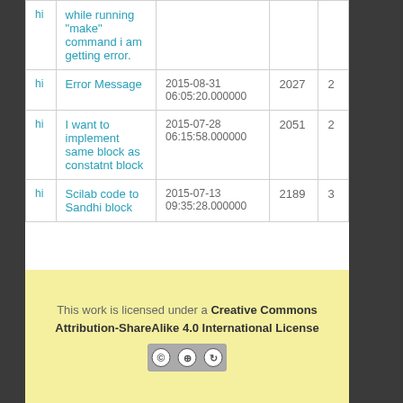|  | Title | Date | Views | Answers |
| --- | --- | --- | --- | --- |
| hi | while running "make" command i am getting error. |  |  |  |
| hi | Error Message | 2015-08-31 06:05:20.000000 | 2027 | 2 |
| hi | I want to implement same block as constatnt block | 2015-07-28 06:15:58.000000 | 2051 | 2 |
| hi | Scilab code to Sandhi block | 2015-07-13 09:35:28.000000 | 2189 | 3 |
This work is licensed under a Creative Commons Attribution-ShareAlike 4.0 International License